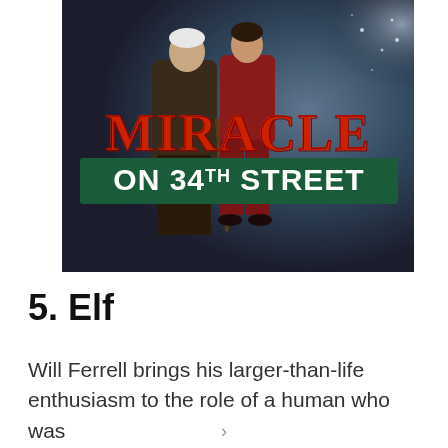[Figure (photo): Movie poster for 'Miracle on 34th Street' showing two people standing (an older man with a cane and a woman) against a dark atmospheric background, with large red 'MIRACLE' text and a green banner reading 'ON 34TH STREET']
5. Elf
Will Ferrell brings his larger-than-life enthusiasm to the role of a human who was